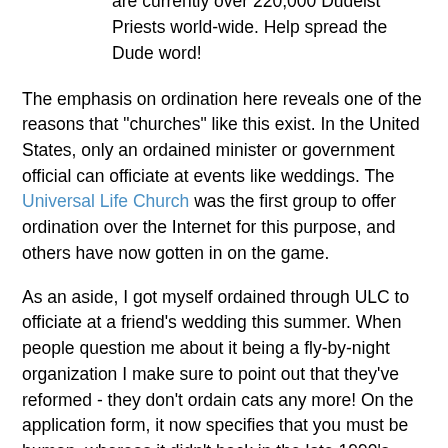ordained minister at one of the most easygoing religions in the world. There are currently over 220,000 Dudeist Priests world-wide. Help spread the Dude word!
The emphasis on ordination here reveals one of the reasons that "churches" like this exist. In the United States, only an ordained minister or government official can officiate at events like weddings. The Universal Life Church was the first group to offer ordination over the Internet for this purpose, and others have now gotten in on the game.
As an aside, I got myself ordained through ULC to officiate at a friend's wedding this summer. When people question me about it being a fly-by-night organization I make sure to point out that they've reformed - they don't ordain cats any more! On the application form, it now specifies that you must be human, whereas it didn't back in the late 1990's.
It's time that we separated civil and religious marriage. Make civil marriages civil only, and then churches can perform whatever rite they or the families want in accordance with